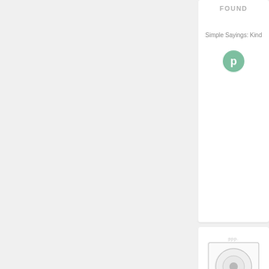FOUND
Simple Sayings: Kind
[Figure (logo): Green circular badge with letter P]
[Figure (photo): Pretty Pink Posh stamp product image with circular design and green base bar]
Pretty Pink Posh SCALLOP HEXAGONS Die Set at Simon Says STAMP!
[Figure (logo): Small brown deer/reindeer Etsy logo icon]